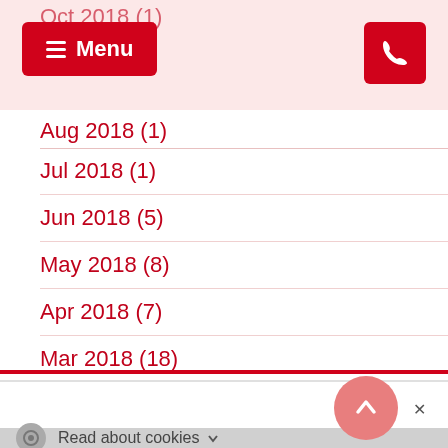Menu (navigation bar with phone icon)
Oct 2018 (1)
Aug 2018 (1)
Jul 2018 (1)
Jun 2018 (5)
May 2018 (8)
Apr 2018 (7)
Mar 2018 (18)
Feb 2018 (7)
Jan 2018 (1)
Copyright © 2022 - London Theatre Reviews | Social icons (Facebook, Twitter, Instagram) | Read about cookies | Back to top